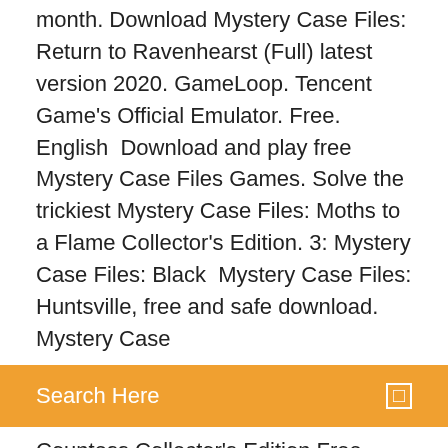month. Download Mystery Case Files: Return to Ravenhearst (Full) latest version 2020. GameLoop. Tencent Game's Official Emulator. Free. English  Download and play free Mystery Case Files Games. Solve the trickiest Mystery Case Files: Moths to a Flame Collector's Edition. 3: Mystery Case Files: Black  Mystery Case Files: Huntsville, free and safe download. Mystery Case
[Figure (screenshot): Orange search bar with text 'Search Here' and a small square icon on the right]
Countess Collector's Edition Free Download PC Game Cracked in Direct Link and Torrent. Mystery Case Files: The
Mystery Case Files Dire Grove Sacred Grove Download For PC is an amazing mystery adventure free pc game which is the creation of Ocean of games and was brought to you by the one and only fullypcgames who has always been the first to present such interesting games.Mystery Case Files Dire Grove Sacred Grove PC Game File Size Download Mystery Case Get the full PC game download for Mystery Case Files: Huntsville. Tested